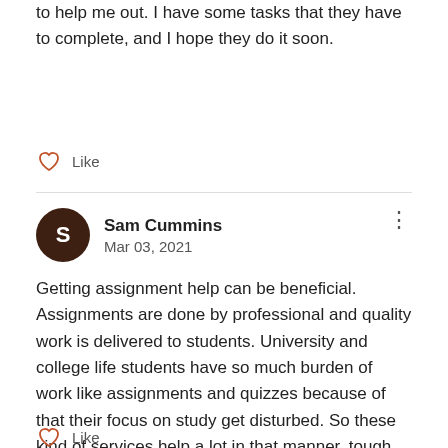to help me out. I have some tasks that they have to complete, and I hope they do it soon.
Like
Sam Cummins
Mar 03, 2021
Getting assignment help can be beneficial. Assignments are done by professional and quality work is delivered to students. University and college life students have so much burden of work like assignments and quizzes because of that their focus on study get disturbed. So these kind of services help a lot in that manner. tough schedule, daily quiz, daily assignments and jam pack routine are the reason why student need assignment help.
Like